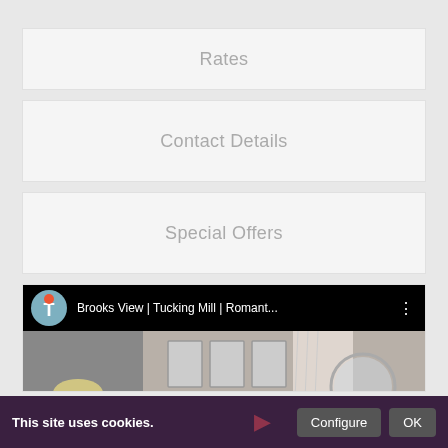Rates
Contact Details
Special Offers
[Figure (screenshot): YouTube video embed showing 'Brooks View | Tucking Mill | Romant...' with a room interior thumbnail. The video player header shows a circular avatar with a red dot and letter T, the video title, and a three-dot menu icon.]
This site uses cookies.